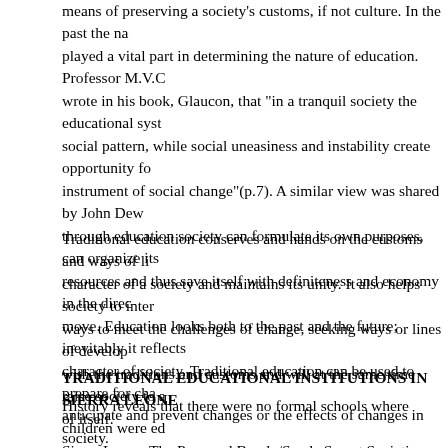means of preserving a society's customs, if not culture. In the past the nature played a vital part in determining the nature of education. Professor M.V.C. wrote in his book, Glaucon, that "in a tranquil society the educational system social pattern, while social uneasiness and instability create opportunity for instrument of social change"(p.7). A similar view was shared by John Dew through education society can formulate its own purposes, can organize its resources and thus save itself with definiteness and economy in the direction move. Education looks both to the past and the future; inevitably it reflects the character of society. Traditional education can be used to prepare for change, anticipate and prevent changes or the effects of changes in society.
Traditional education conserves and hands on the customs and ways of life, character of a society and maintains its unity. It also helps society to interpret ways to meet the challenges of change, seeking ways or lines of development with the traditions and customs and will at the same time raise society to a higher of itself.
TRADITIONAL EDUCATIONAL INSTITUTIONS IN SIERRA LEONE
History reveals that there were no formal schools where children were educated in Sierra Leone. The Poro and Bondo/Sande Secret Societies were looked upon as children. They were bush schools. And the education these bush schools provided. Children who went through these secret societies were considered capable of taking responsibilities. They became adults and can marry and start life. They constitute one family. In other words both Secret Societies created a sense of comradeship